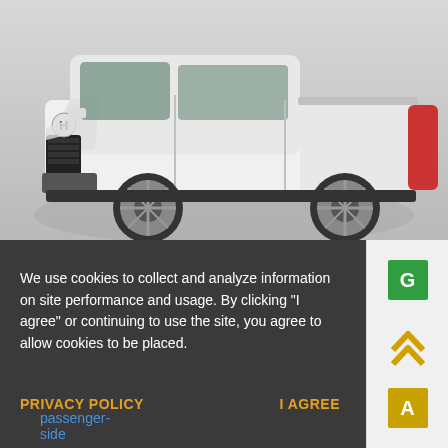[Figure (photo): White Honda Ridgeline pickup truck on a turntable against a grey studio background, side profile view.]
We use cookies to collect and analyze information on site performance and usage. By clicking "I agree" or continuing to use the site, you agree to allow cookies to be placed.
PRIVACY POLICY    I AGREE
[Figure (infographic): Rating panel showing green G badge, yellow upward chevron arrows, and yellow A badge.]
passenger-side